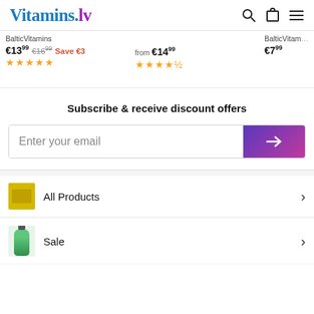Vitamins.lv
BalticVitamins  €13.99  €16.99  Save €3  ★★★★★
from €14.99  ★★★★½
BalticVitamins  €7.99
Subscribe & receive discount offers
Enter your email
All Products
Sale